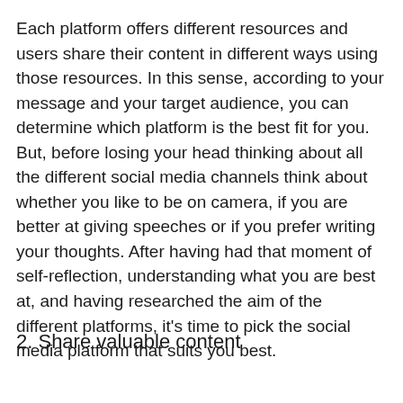Each platform offers different resources and users share their content in different ways using those resources. In this sense, according to your message and your target audience, you can determine which platform is the best fit for you. But, before losing your head thinking about all the different social media channels think about whether you like to be on camera, if you are better at giving speeches or if you prefer writing your thoughts. After having had that moment of self-reflection, understanding what you are best at, and having researched the aim of the different platforms, it's time to pick the social media platform that suits you best.
2. Share valuable content